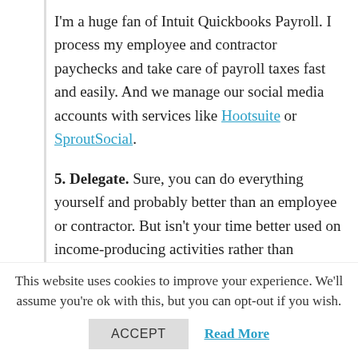I'm a huge fan of Intuit Quickbooks Payroll. I process my employee and contractor paychecks and take care of payroll taxes fast and easily. And we manage our social media accounts with services like Hootsuite or SproutSocial.
5. Delegate. Sure, you can do everything yourself and probably better than an employee or contractor. But isn't your time better used on income-producing activities rather than ordering office supplies, sending out invoices, standing in line at the post office, answering routine phone calls? Isn't it time you got some help? And if you
This website uses cookies to improve your experience. We'll assume you're ok with this, but you can opt-out if you wish.